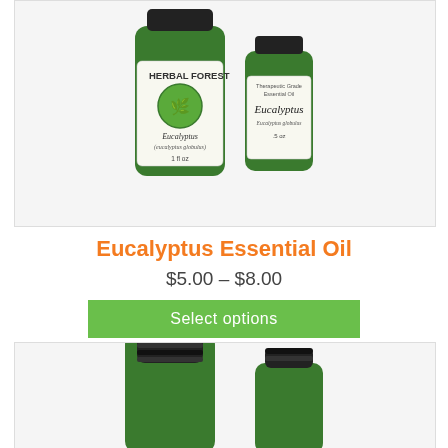[Figure (photo): Two green glass bottles of Eucalyptus Essential Oil with white labels. The larger bottle (1 fl oz) has a 'Herbal Forest' label with a tree logo and reads 'Eucalyptus (Eucalyptus globulus)'. The smaller bottle (.5 oz) reads 'Therapeutic Grade Essential Oil - Eucalyptus - Eucalyptus globulus'. Both have black caps.]
Eucalyptus Essential Oil
$5.00 – $8.00
Select options
[Figure (photo): Two green glass bottles of essential oil with black caps, partially cropped. Larger bottle on left, smaller bottle on right. Both are green with black screw-top lids.]